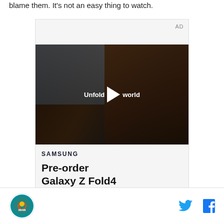blame them. It's not an easy thing to watch.
[Figure (screenshot): Samsung advertisement with video showing a person holding a Galaxy Z Fold4 phone in a car. Text overlay reads 'Unfold your world' with a play button. Below the video shows Samsung logo and text 'Pre-order Galaxy Z Fold4'. AD label in top right corner.]
Miami Dolphins logo | Twitter icon | Facebook icon